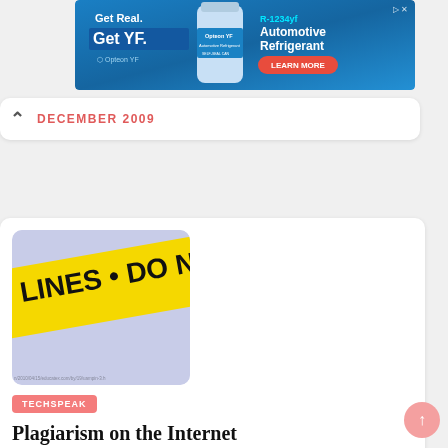[Figure (photo): Advertisement banner for Opteon YF R-1234yf Automotive Refrigerant with blue background, product bottle, and Learn More button]
DECEMBER 2009
[Figure (photo): Crime scene tape image showing 'LINES • DO N' text on yellow tape against light purple/blue background]
TECHSPEAK
Plagiarism on the Internet